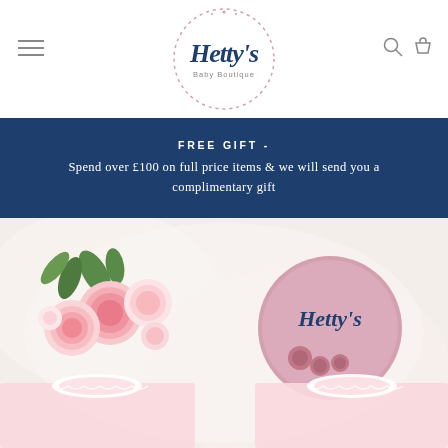[Figure (logo): Hetty's Baby Boutique circular logo with cursive script and dotted circle border]
FREE GIFT - Spend over £100 on full price items & we will send you a complimentary gift
[Figure (photo): Flatlay photo of pink peonies bouquet, Hetty's branded pink circular sign, and two pink baby outfits with frilly collars on a white fluffy background]